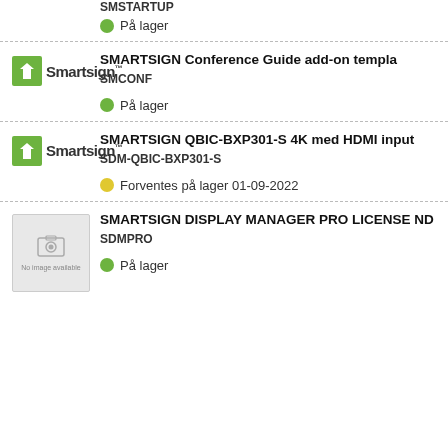SMSTARTUP
På lager
SMARTSIGN Conference Guide add-on templa
SMCONF
På lager
SMARTSIGN QBIC-BXP301-S 4K med HDMI input
SDM-QBIC-BXP301-S
Forventes på lager 01-09-2022
SMARTSIGN DISPLAY MANAGER PRO LICENSE ND
SDMPRO
På lager